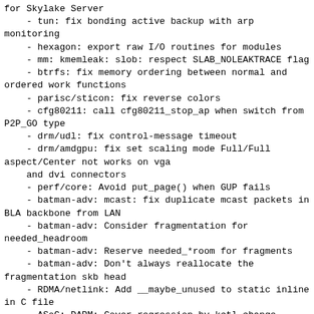for Skylake Server
    - tun: fix bonding active backup with arp monitoring
    - hexagon: export raw I/O routines for modules
    - mm: kmemleak: slob: respect SLAB_NOLEAKTRACE flag
    - btrfs: fix memory ordering between normal and ordered work functions
    - parisc/sticon: fix reverse colors
    - cfg80211: call cfg80211_stop_ap when switch from P2P_GO type
    - drm/udl: fix control-message timeout
    - drm/amdgpu: fix set scaling mode Full/Full aspect/Center not works on vga and dvi connectors
    - perf/core: Avoid put_page() when GUP fails
    - batman-adv: mcast: fix duplicate mcast packets in BLA backbone from LAN
    - batman-adv: Consider fragmentation for needed_headroom
    - batman-adv: Reserve needed_*room for fragments
    - batman-adv: Don't always reallocate the fragmentation skb head
    - RDMA/netlink: Add __maybe_unused to static inline in C file
    - ASoC: DAPM: Cover regression by kctl change notification fix
    - usb: max-3421: Use driver data instead of maintaining a list of bound devices
    - soc/tegra: pmc: Fix imbalanced clock disabling in